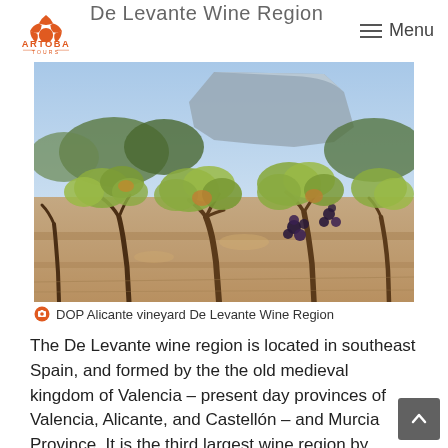De Levante Wine Region
[Figure (photo): Vineyard photo showing old gnarled grapevines in sandy soil with a rocky mountain cliff in the background, DOP Alicante vineyard De Levante Wine Region]
DOP Alicante vineyard De Levante Wine Region
The De Levante wine region is located in southeast Spain, and formed by the the old medieval kingdom of Valencia – present day provinces of Valencia, Alicante, and Castellón – and Murcia Province. It is the third largest wine region by hectarage, and with a relatively low yield (16 hl/ha), it is the fifth largest region by